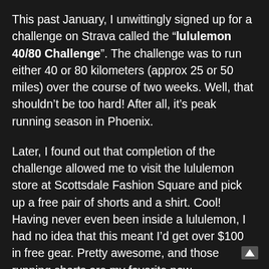This past January, I unwittingly signed up for a challenge on Strava called the "lululemon 40/80 Challenge". The challenge was to run either 40 or 80 kilometers (approx 25 or 50 miles) over the course of two weeks. Well, that shouldn't be too hard! After all, it's peak running season in Phoenix.
Later, I found out that completion of the challenge allowed me to visit the lululemon store at Scottsdale Fashion Square and pick up a free pair of shorts and a shirt. Cool! Having never even been inside a lululemon, I had no idea that this meant I'd get over $100 in free gear. Pretty awesome, and those running shorts are my favorite now.
To show my appreciation, I figured I'd at least give